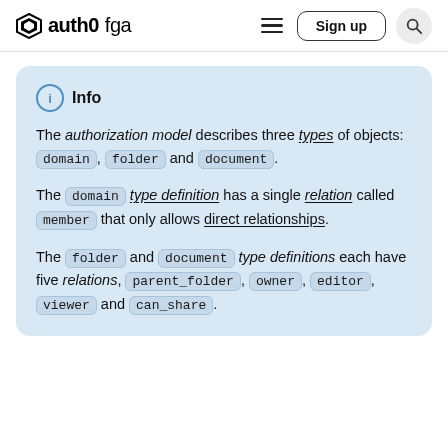auth0 fga — Sign up
Info
The authorization model describes three types of objects: domain, folder and document.
The domain type definition has a single relation called member that only allows direct relationships.
The folder and document type definitions each have five relations, parent_folder, owner, editor, viewer and can_share.